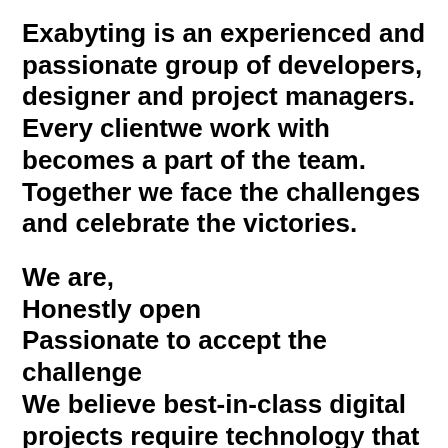Exabyting is an experienced and passionate group of developers, designer and project managers. Every clientwe work with becomes a part of the team. Together we face the challenges and celebrate the victories.
We are, Honestly open Passionate to accept the challenge We believe best-in-class digital projects require technology that perfectly supports the design and We rely on the right tools for the job, not a